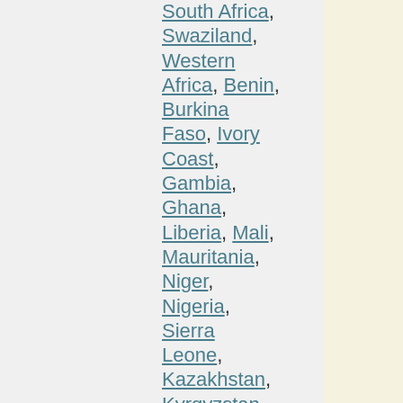South Africa, Swaziland, Western Africa, Benin, Burkina Faso, Ivory Coast, Gambia, Ghana, Liberia, Mali, Mauritania, Niger, Nigeria, Sierra Leone, Kazakhstan, Kyrgyzstan, Tajikistan, Turkmenistan, Uzbekistan, China, South